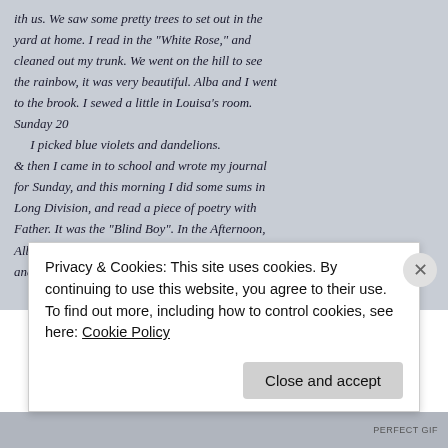[Figure (photo): Scanned handwritten manuscript diary page with cursive writing in ink on aged paper. Text reads partial diary entries mentioning seeing pretty trees, reading the 'White Rose', cleaning out a trunk, going on the hill to see the rainbow, sewing in Louisa's room, Sunday 20 entry about picking blue violets and dandelions, going to school, writing journal, doing sums in Long Division, reading poetry 'Blind Boy' with Father, sewing in the afternoon, inviting Mary Gill to come, knitting a little and playing.]
Privacy & Cookies: This site uses cookies. By continuing to use this website, you agree to their use.
To find out more, including how to control cookies, see here: Cookie Policy